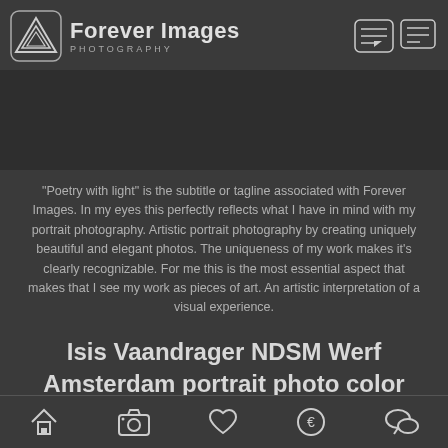Forever Images PHOTOGRAPHY
"Poetry with light" is the subtitle or tagline associated with Forever Images. In my eyes this perfectly reflects what I have in mind with my portrait photography. Artistic portrait photography by creating uniquely beautiful and elegant photos. The uniqueness of my work makes it's clearly recognizable. For me this is the most essential aspect that makes that I see my work as pieces of art. An artistic interpretation of a visual experience.
Isis Vaandrager NDSM Werf Amsterdam portrait photo color
[Figure (other): Bottom navigation bar with icons: home, camera, heart, euro, chat bubble]